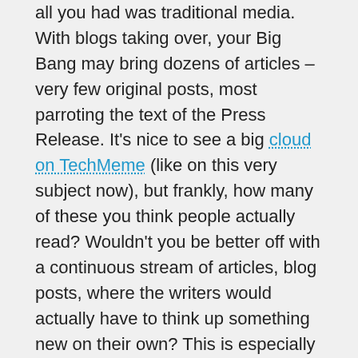all you had was traditional media.  With blogs taking over, your Big Bang may bring dozens of articles – very few original posts, most parroting the text of the Press Release.   It's nice to see a big cloud on TechMeme (like on this very subject now), but frankly, how many of these you think people actually read?  Wouldn't you be better off with a continuous stream of articles, blog posts, where the writers would actually have to think up something new on their own?  This is especially true for software releases, which are typically soft-announced anyway, with private beta then beta testers having access to it, or as is the case with Google, discovering it before the announcement.
Now, when Steve Jobs gets on stage to announce the next super-secret Apple device (the Startrek Communicator with the built-in beam-me-up-Scotty function) then I understand the role of the embargo. But